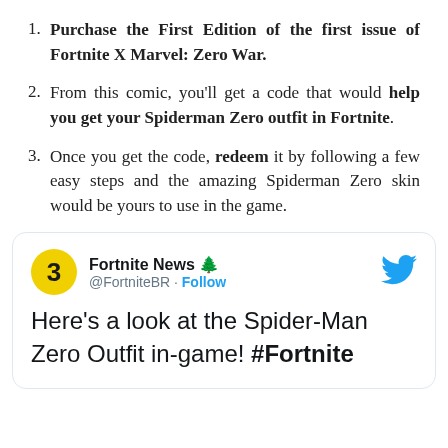Purchase the First Edition of the first issue of Fortnite X Marvel: Zero War.
From this comic, you'll get a code that would help you get your Spiderman Zero outfit in Fortnite.
Once you get the code, redeem it by following a few easy steps and the amazing Spiderman Zero skin would be yours to use in the game.
[Figure (screenshot): Tweet from Fortnite News (@FortniteBR) with Follow button and Twitter bird logo. Tweet text reads: Here's a look at the Spider-Man Zero Outfit in-game! #Fortnite]